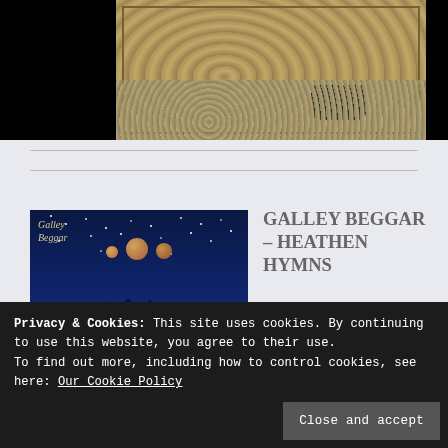[Figure (photo): Top section showing album artwork on black background with rocks/stones and a foot visible, beige/cream album border]
[Figure (photo): Galley Beggar album cover – night sky with moons, trees, and fence silhouette on dark blue background with 'Galley Beggar' text]
GALLEY BEGGAR – HEATHEN HYMNS
Folk-Rock |
Privacy & Cookies: This site uses cookies. By continuing to use this website, you agree to their use.
To find out more, including how to control cookies, see here: Our Cookie Policy
Close and accept